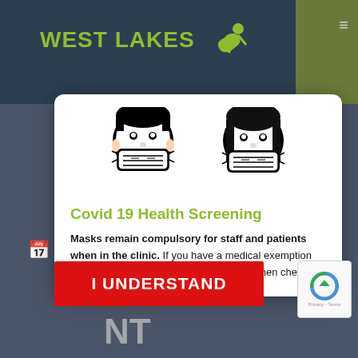[Figure (screenshot): West Lakes website header with teal/dark background and olive green right panel, showing 'WEST LAKES' logo in yellow-green text with a running figure icon]
[Figure (illustration): Two cartoon face icons wearing surgical masks — one male, one female]
Covid 19 Health Screening
Masks remain compulsory for staff and patients when in the clinic. If you have a medical exemption from wearing a [mask, please advise] when checking [in.]
[Figure (screenshot): Red 'I UNDERSTAND' button overlay on the modal]
NT
[Figure (other): reCAPTCHA widget in bottom right corner showing Privacy - Terms text]